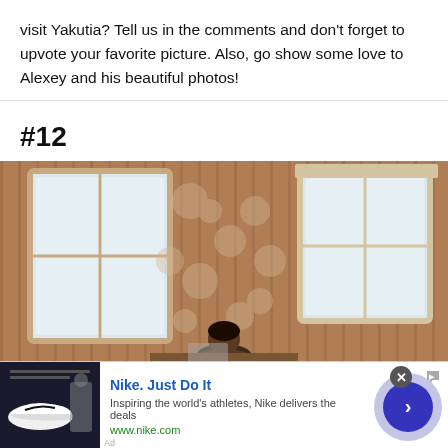visit Yakutia? Tell us in the comments and don't forget to upvote your favorite picture. Also, go show some love to Alexey and his beautiful photos!
#12
[Figure (photo): Interior room photo showing a person sitting at a table inside a wooden-walled room with lace curtain panels and two frosted windows]
[Figure (screenshot): Nike advertisement banner: 'Nike. Just Do It' with tagline 'Inspiring the world's athletes, Nike delivers the deals' and URL www.nike.com, with Air Force 1 shoe thumbnail and a blue arrow button]